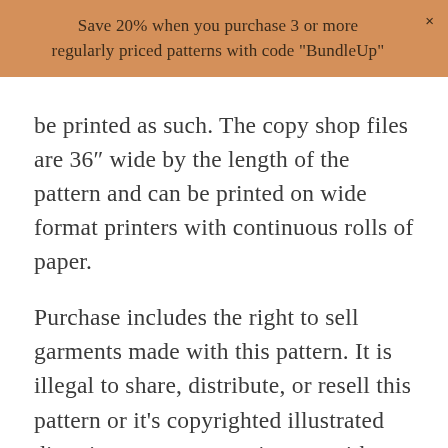Save 20% when you purchase 3 or more regularly priced patterns with code "BundleUp"
be printed as such.  The copy shop files are 36″ wide by the length of the pattern and can be printed on wide format printers with continuous rolls of paper.
Purchase includes the right to sell garments made with this pattern.  It is illegal to share, distribute, or resell this pattern or it’s copyrighted illustrated directions, or use any pictures without permission.
Don’t forget to share your creations!